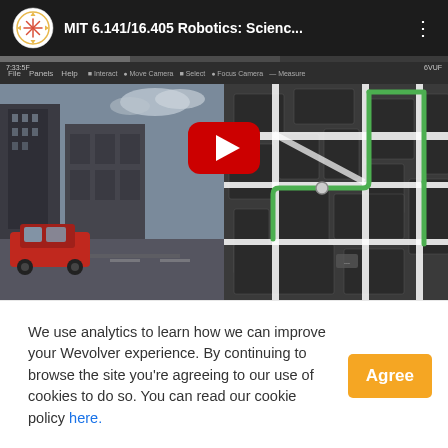[Figure (screenshot): YouTube-style video player showing MIT 6.141/16.405 Robotics: Science... with a play button overlay. The thumbnail shows a split view: left side is a real-world city street scene with a red car, right side is a dark map/navigation interface with green route lines. A toolbar with File, Panels, Help menus is visible. The video header shows the MIT Wevolver logo and channel name.]
We use analytics to learn how we can improve your Wevolver experience. By continuing to browse the site you're agreeing to our use of cookies to do so. You can read our cookie policy here.